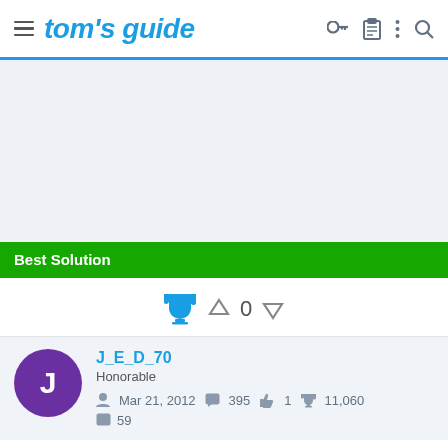tom's guide
[Figure (screenshot): Gray advertisement/placeholder area]
Best Solution
[Figure (infographic): Trophy icon with up/down vote arrows showing 0 votes]
J_E_D_70
Honorable
Mar 21, 2012   395   1   11,060
59